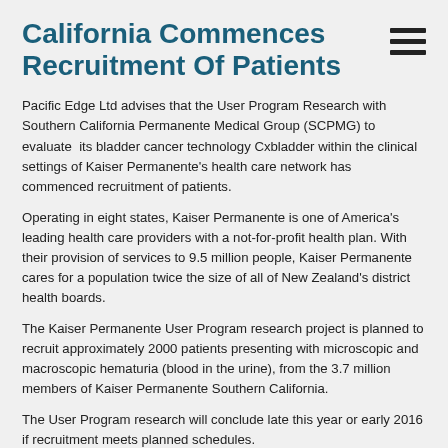California Commences Recruitment Of Patients
Pacific Edge Ltd advises that the User Program Research with Southern California Permanente Medical Group (SCPMG) to evaluate its bladder cancer technology Cxbladder within the clinical settings of Kaiser Permanente's health care network has commenced recruitment of patients.
Operating in eight states, Kaiser Permanente is one of America's leading health care providers with a not-for-profit health plan. With their provision of services to 9.5 million people, Kaiser Permanente cares for a population twice the size of all of New Zealand's district health boards.
The Kaiser Permanente User Program research project is planned to recruit approximately 2000 patients presenting with microscopic and macroscopic hematuria (blood in the urine), from the 3.7 million members of Kaiser Permanente Southern California.
The User Program research will conclude late this year or early 2016 if recruitment meets planned schedules.
Pacific Edge Chief Executive David Darling says User Programs are a key part of the adoption process where customers are able to obtain data and specific experience of the benefits of using the Cxbladder technology in their